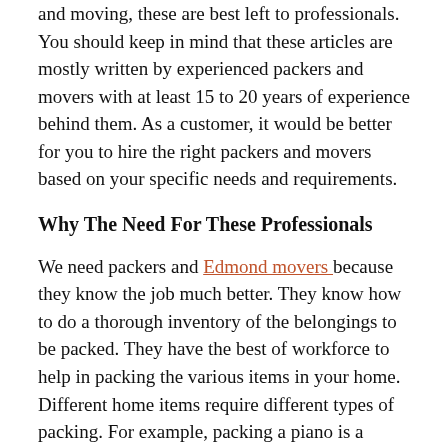and moving, these are best left to professionals. You should keep in mind that these articles are mostly written by experienced packers and movers with at least 15 to 20 years of experience behind them. As a customer, it would be better for you to hire the right packers and movers based on your specific needs and requirements.
Why The Need For These Professionals
We need packers and Edmond movers because they know the job much better. They know how to do a thorough inventory of the belongings to be packed. They have the best of workforce to help in packing the various items in your home. Different home items require different types of packing. For example, packing a piano is a completely different ball game when compared to packing a computer, air conditioner or home furniture. Further loading and unloading is also a tough job and only those with the right skills would be able to do a good job of it. You and your